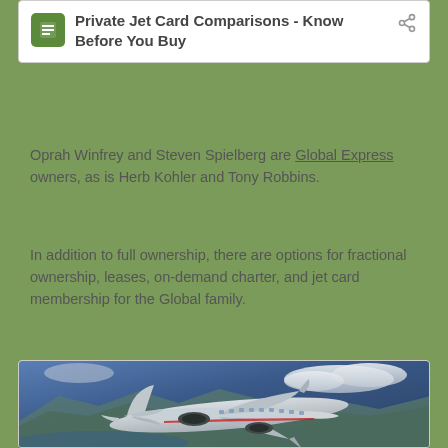Private Jet Card Comparisons - Know Before You Buy
Oprah Winfrey and Steven Spielberg are Global Express owners, as is Herb Kohler and Tony Robbins.
In addition to full ownership, there are options for fractional ownership, leases, on-demand charter, and jet card membership for the Global family.
[Figure (photo): A white private jet (Global Express type) flying over a coastal landscape with mountains and clouds in the background.]